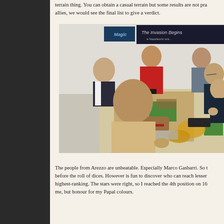terrain thing. You can obtain a casual terrain but some results are not pra allies, we would see the final list to give a verdict.
[Figure (photo): Several men seated and standing around a table playing a tabletop wargame with miniatures on a terrain board. A banner reading 'The Invasion Begins' and a Magic: The Gathering sign are visible in the background.]
The people from Arezzo are unbeatable. Especially Marco Gasbarri. So t before the roll of dices. However is fun to discover who can reach lesser highest-ranking. The stars were right, so I reached the 4th position on 16 me, but honour for my Papal colours.